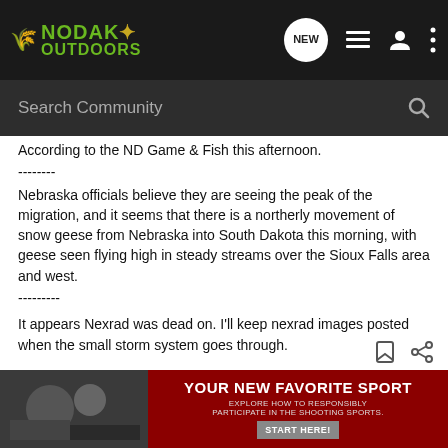[Figure (logo): Nodak Outdoors logo with green text and grass/arrow icon on dark nav bar]
According to the ND Game & Fish this afternoon.
--------
Nebraska officials believe they are seeing the peak of the migration, and it seems that there is a northerly movement of snow geese from Nebraska into South Dakota this morning, with geese seen flying high in steady streams over the Sioux Falls area and west.
---------
It appears Nexrad was dead on. I'll keep nexrad images posted when the small storm system goes through.
[Figure (screenshot): Advertisement banner: Your New Favorite Sport - Explore how to responsibly participate in the shooting sports. Start Here!]